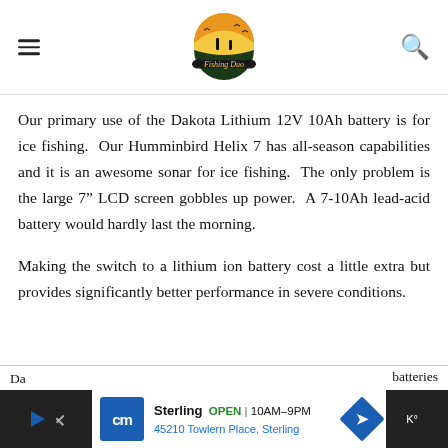[Figure (logo): Fishing Duo logo with circular sunset/silhouette design and banner with text 'Fishing Duo']
Our primary use of the Dakota Lithium 12V 10Ah battery is for ice fishing.  Our Humminbird Helix 7 has all-season capabilities and it is an awesome sonar for ice fishing.  The only problem is the large 7" LCD screen gobbles up power.  A 7-10Ah lead-acid battery would hardly last the morning.
Making the switch to a lithium ion battery cost a little extra but provides significantly better performance in severe conditions.
[Figure (other): Advertisement bar: CM store ad for Sterling location, OPEN 10AM-9PM, 45210 Towlern Place, Sterling, with navigation arrow icon]